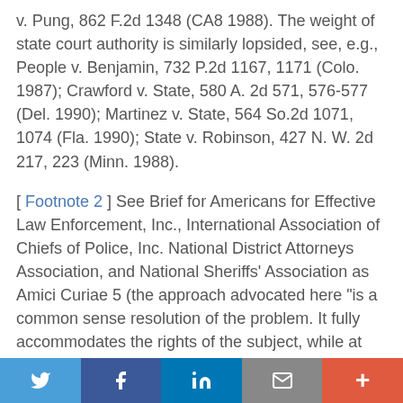v. Pung, 862 F.2d 1348 (CA8 1988). The weight of state court authority is similarly lopsided, see, e.g., People v. Benjamin, 732 P.2d 1167, 1171 (Colo. 1987); Crawford v. State, 580 A. 2d 571, 576-577 (Del. 1990); Martinez v. State, 564 So.2d 1071, 1074 (Fla. 1990); State v. Robinson, 427 N. W. 2d 217, 223 (Minn. 1988).
[ Footnote 2 ] See Brief for Americans for Effective Law Enforcement, Inc., International Association of Chiefs of Police, Inc. National District Attorneys Association, and National Sheriffs' Association as Amici Curiae 5 (the approach advocated here "is a common sense resolution of the problem. It fully accommodates the rights of the subject, while at the same time preserv[ing] the interests of law enforcement and of the public welfare"); see also Brief for United States 20 (approach taken by the Court does not "fulfill the fundamental purpose of Miranda") (internal
Twitter | Facebook | LinkedIn | Email | More